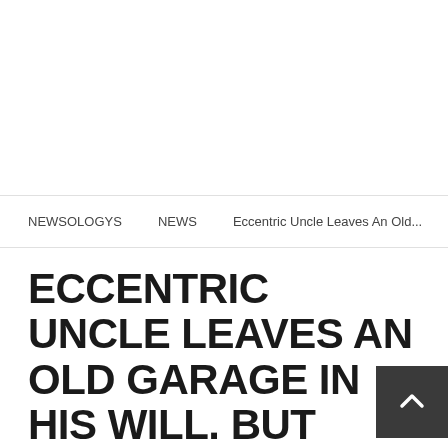NEWSOLOGYS   NEWS   Eccentric Uncle Leaves An Old...
ECCENTRIC UNCLE LEAVES AN OLD GARAGE IN HIS WILL. BUT WHAT WAS INSIDE? AMAZING!